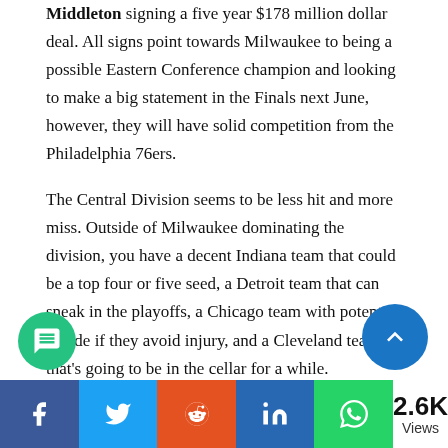Middleton signing a five year $178 million dollar deal. All signs point towards Milwaukee to being a possible Eastern Conference champion and looking to make a big statement in the Finals next June, however, they will have solid competition from the Philadelphia 76ers.
The Central Division seems to be less hit and more miss. Outside of Milwaukee dominating the division, you have a decent Indiana team that could be a top four or five seed, a Detroit team that can sneak in the playoffs, a Chicago team with potential upside if they avoid injury, and a Cleveland team that's going to be in the cellar for a while.
Central Division Predicted Standings:
[Figure (other): Green chat bubble button (bottom left) and blue scroll-to-top arrow button (bottom right)]
[Figure (other): Social share bar with Facebook, Twitter, Reddit, LinkedIn, WhatsApp buttons and 2.6K Views count]